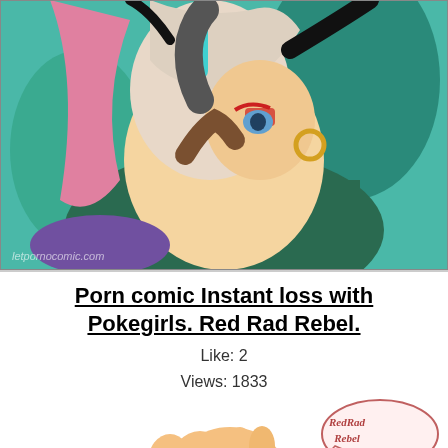[Figure (illustration): Anime-style illustration showing a female character with pink and white hair, wearing a green outfit, with teal background elements. Watermark visible in bottom-left corner.]
Porn comic Instant loss with Pokegirls. Red Rad Rebel.
Like: 2
Views: 1833
[Figure (illustration): Bottom preview of comic page showing partial anime character hand/arm and a speech bubble with stylized text reading 'Red Rad Rebel'.]